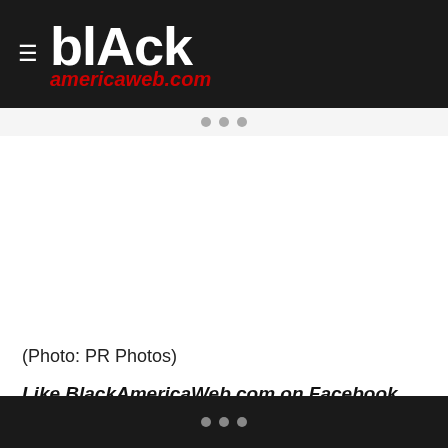blAck americaweb.com
(Photo: PR Photos)
Like BlackAmericaWeb.com on Facebook. Follow us on
0 PHOTOS   VIEW GALLERY
FALL TV SEASON 2014 , FX NETWORKS , MALCOLM JAMAL WARNER , SONS OF ANARCHY